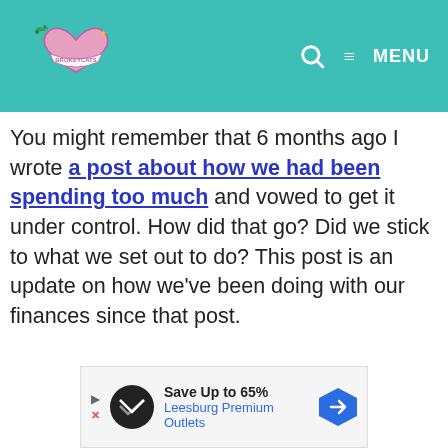MENU
You might remember that 6 months ago I wrote a post about how we had been spending too much and vowed to get it under control. How did that go? Did we stick to what we set out to do? This post is an update on how we've been doing with our finances since that post.
[Figure (other): Advertisement banner: Save Up to 65% Leesburg Premium Outlets]